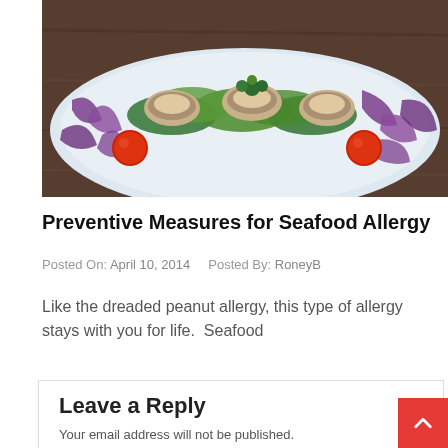[Figure (photo): A plate of seafood salad with stuffed mushrooms or clams, red tomatoes, green lettuce, and purple shredded cabbage on a white plate, on a wooden surface.]
Preventive Measures for Seafood Allergy
Posted On: April 10, 2014   Posted By: RoneyB
Like the dreaded peanut allergy, this type of allergy stays with you for life.  Seafood
Leave a Reply
Your email address will not be published. Required fields are marked *
Comment *